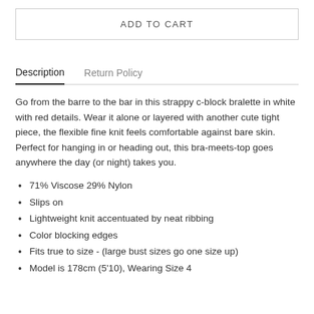ADD TO CART
Description | Return Policy
Go from the barre to the bar in this strappy c-block bralette in white with red details. Wear it alone or layered with another cute tight piece, the flexible fine knit feels comfortable against bare skin. Perfect for hanging in or heading out, this bra-meets-top goes anywhere the day (or night) takes you.
71% Viscose 29% Nylon
Slips on
Lightweight knit accentuated by neat ribbing
Color blocking edges
Fits true to size - (large bust sizes go one size up)
Model is 178cm (5'10), Wearing Size 4